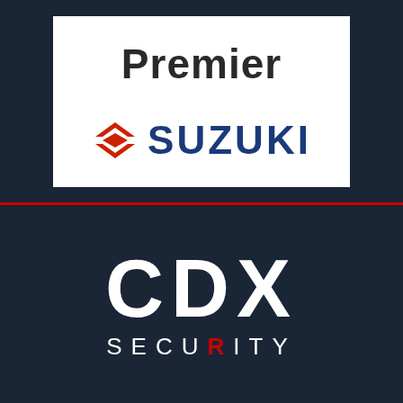[Figure (logo): Premier Suzuki logo: white rectangle with 'Premier' in dark bold text above the Suzuki 'S' emblem in red and 'SUZUKI' in dark blue bold uppercase text]
[Figure (logo): CDX Security logo on dark navy background: large white bold 'CDX' letters above 'SECURITY' in spaced white uppercase letters with the 'R' in red]